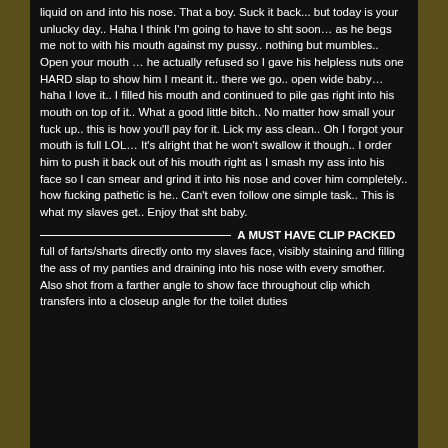liquid on and into his nose. That a boy. Suck it back... but today is your unlucky day.. Haha I think I'm going to have to sht soon… as he begs me not to with his mouth against my pussy.. nothing but mumbles.. Open your mouth … he actually refused so I gave his helpless nuts one HARD slap to show him I meant it.. there we go.. open wide baby… haha I love it.. I filled his mouth and continued to pile gas right into his mouth on top of it.. What a good little bitch.. No matter how small your fuck up.. this is how you'll pay for it. Lick my ass clean.. Oh I forgot your mouth is full LOL… It's alright that he won't swallow it though.. I order him to push it back out of his mouth right as I smash my ass into his face so I can smear and grind it into his nose and cover him completely.. how fucking pathetic is he.. Can't even follow one simple task.. This is what my slaves get.. Enjoy that sht baby.
——————————— A MUST HAVE CLIP PACKED full of farts/sharts directly onto my slaves face, visibly staining and filling the ass of my panties and draining into his nose with every smother. Also shot from a farther angle to show face throughout clip which transfers into a closeup angle for the toilet duties